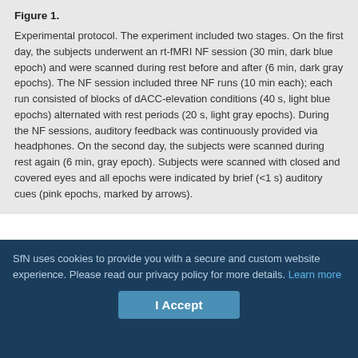Figure 1. Experimental protocol. The experiment included two stages. On the first day, the subjects underwent an rt-fMRI NF session (30 min, dark blue epoch) and were scanned during rest before and after (6 min, dark gray epochs). The NF session included three NF runs (10 min each); each run consisted of blocks of dACC-elevation conditions (40 s, light blue epochs) alternated with rest periods (20 s, light gray epochs). During the NF sessions, auditory feedback was continuously provided via headphones. On the second day, the subjects were scanned during rest again (6 min, gray epoch). Subjects were scanned with closed and covered eyes and all epochs were indicated by brief (<1 s) auditory cues (pink epochs, marked by arrows).
LOCALIZER.
To localize the dACC region to be enhanced during training (see below), subjects performed two localizer tasks involving self-initiation and volitional behavior, which were shown to activate this region
SfN uses cookies to provide you with a secure and custom website experience. Please read our privacy policy for more details. Learn more